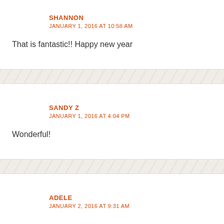SHANNON
JANUARY 1, 2016 AT 10:58 AM
That is fantastic!! Happy new year
SANDY Z
JANUARY 1, 2016 AT 4:04 PM
Wonderful!
ADELE
JANUARY 2, 2016 AT 9:31 AM